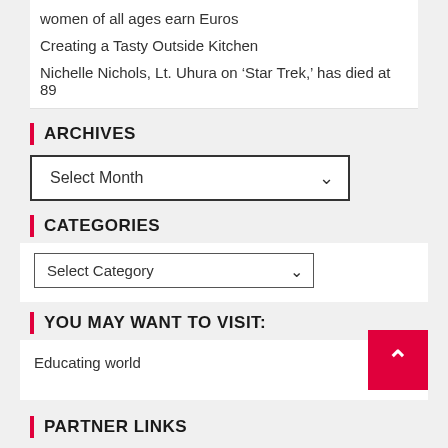women of all ages earn Euros
Creating a Tasty Outside Kitchen
Nichelle Nichols, Lt. Uhura on ‘Star Trek,’ has died at 89
ARCHIVES
Select Month
CATEGORIES
Select Category
YOU MAY WANT TO VISIT:
Educating world
PARTNER LINKS